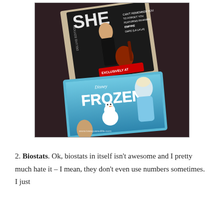[Figure (photo): A hand holding a Shakira CD (She Wolf Deluxe Edition, Exclusively at Target) in front of a Disney Frozen DVD/Blu-ray case. The Shakira album cover shows her in a black outfit with a guitar. The Frozen case shows Elsa, Olaf and other characters. Watermark reads www.tvesquaredlife.com.]
2. Biostats. Ok, biostats in itself isn't awesome and I pretty much hate it – I mean, they don't even use numbers sometimes. I just